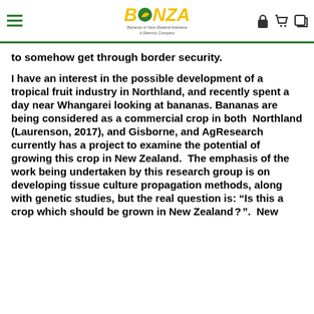BONZA — Bananas of New Zealand Aotearoa — A Stemmy Company
to somehow get through border security.
I have an interest in the possible development of a tropical fruit industry in Northland, and recently spent a day near Whangarei looking at bananas. Bananas are being considered as a commercial crop in both Northland (Laurenson, 2017), and Gisborne, and AgResearch currently has a project to examine the potential of growing this crop in New Zealand. The emphasis of the work being undertaken by this research group is on developing tissue culture propagation methods, along with genetic studies, but the real question is: "Is this a crop which should be grown in New Zealand?". New